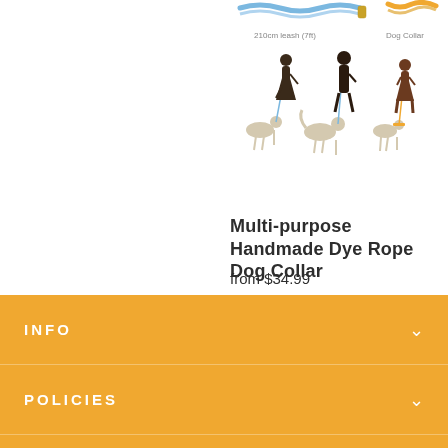[Figure (illustration): Product illustration showing silhouettes of people walking dogs on leashes. Labels: '210cm leash (7ft)' and 'Dog Collar'. Colorful rope leashes and collar shown at top.]
Multi-purpose Handmade Dye Rope Dog Collar
from $34.99
INFO
POLICIES